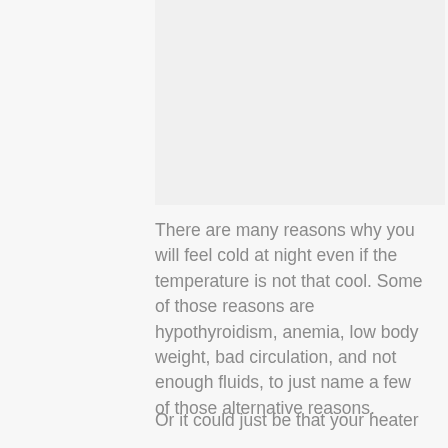[Figure (photo): Image placeholder area at top right of page, light gray background]
There are many reasons why you will feel cold at night even if the temperature is not that cool. Some of those reasons are hypothyroidism, anemia, low body weight, bad circulation, and not enough fluids, to just name a few of those alternative reasons.
Or it could just be that your heater